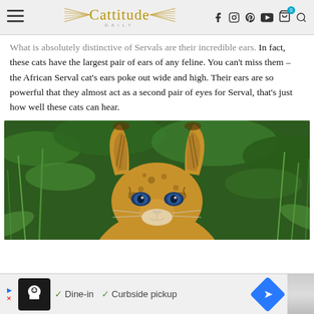Cattitude Daily [navigation bar with logo and icons]
What is absolutely distinctive of Servals are their incredible ears. In fact, these cats have the largest pair of ears of any feline. You can't miss them – the African Serval cat's ears poke out wide and high. Their ears are so powerful that they almost act as a second pair of eyes for Serval, that's just how well these cats can hear.
[Figure (photo): Close-up photo of an African Serval cat facing forward, showing its large prominent ears, spotted coat, and blue eyes, with green foliage in the background.]
[Figure (infographic): Advertisement banner showing a restaurant icon with checkmarks next to 'Dine-in' and 'Curbside pickup' text, with a blue navigation arrow icon on the right.]